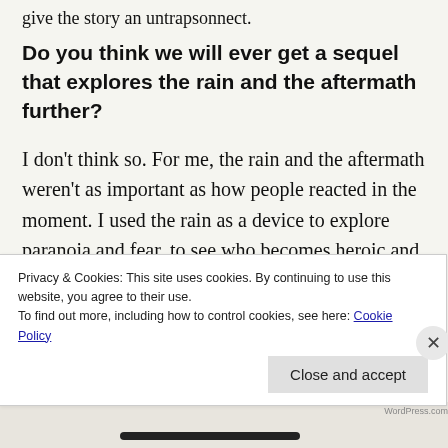give the story an untrapsonnect.
Do you think we will ever get a sequel that explores the rain and the aftermath further?
I don't think so. For me, the rain and the aftermath weren't as important as how people reacted in the moment. I used the rain as a device to explore paranoia and fear, to see who becomes heroic and who looks for scapegoats in a crisis. I felt I accomplished all that, and the story is done for me. Of course, never say never
Privacy & Cookies: This site uses cookies. By continuing to use this website, you agree to their use.
To find out more, including how to control cookies, see here: Cookie Policy